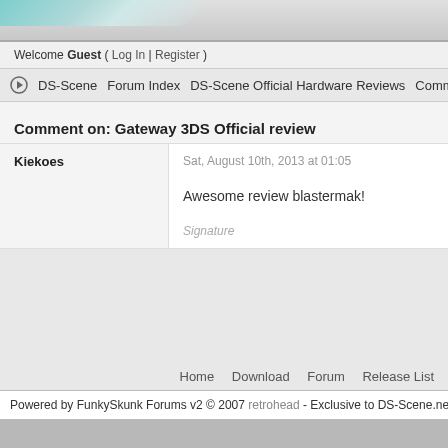Welcome Guest ( Log In | Register )
DS-Scene  Forum Index  DS-Scene Official Hardware Reviews  Comment o...
Comment on: Gateway 3DS Official review
Kiekoes
Sat, August 10th, 2013 at 01:05
Awesome review blastermak!
Signature
Home  Download  Forum  Release List
Powered by FunkySkunk Forums v2 © 2007 retrohead - Exclusive to DS-Scene.net - irc.efn...
Performed 6 Queries in 0.00139 Seconds.
The page rendered in 0.40271 Seconds.